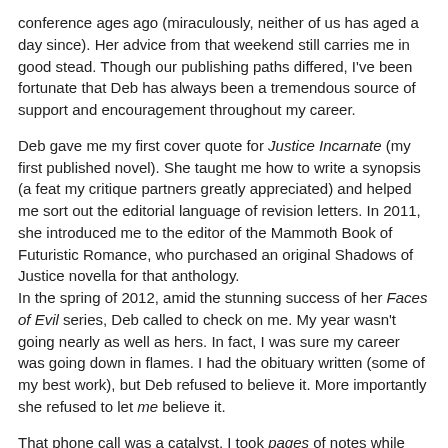conference ages ago (miraculously, neither of us has aged a day since). Her advice from that weekend still carries me in good stead. Though our publishing paths differed, I've been fortunate that Deb has always been a tremendous source of support and encouragement throughout my career.
Deb gave me my first cover quote for Justice Incarnate (my first published novel). She taught me how to write a synopsis (a feat my critique partners greatly appreciated) and helped me sort out the editorial language of revision letters. In 2011, she introduced me to the editor of the Mammoth Book of Futuristic Romance, who purchased an original Shadows of Justice novella for that anthology. In the spring of 2012, amid the stunning success of her Faces of Evil series, Deb called to check on me. My year wasn't going nearly as well as hers. In fact, I was sure my career was going down in flames. I had the obituary written (some of my best work), but Deb refused to believe it. More importantly she refused to let me believe it.
That phone call was a catalyst. I took pages of notes while she dissected my circumstances, assessed my strengths